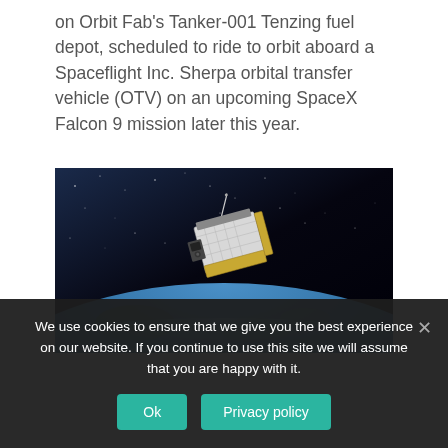on Orbit Fab's Tanker-001 Tenzing fuel depot, scheduled to ride to orbit aboard a Spaceflight Inc. Sherpa orbital transfer vehicle (OTV) on an upcoming SpaceX Falcon 9 mission later this year.
[Figure (photo): Artistic rendering of a small satellite with gold solar panels and white body panels in low Earth orbit, with Earth's curved horizon and atmosphere visible below and a bright star/sun visible in the upper right of the dark space background.]
We use cookies to ensure that we give you the best experience on our website. If you continue to use this site we will assume that you are happy with it.